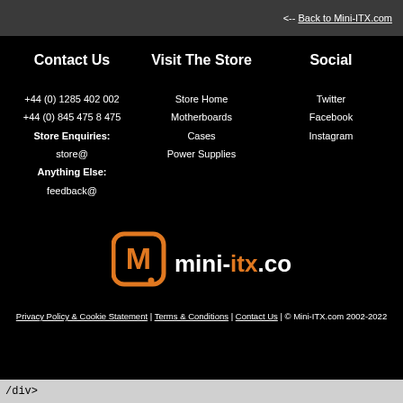<-- Back to Mini-ITX.com
Contact Us
Visit The Store
Social
+44 (0) 1285 402 002
+44 (0) 845 475 8 475
Store Enquiries:
store@
Anything Else:
feedback@
Store Home
Motherboards
Cases
Power Supplies
Twitter
Facebook
Instagram
[Figure (logo): mini-itx.com logo with orange rounded square M icon and text mini-itx.com in orange and white]
Privacy Policy & Cookie Statement | Terms & Conditions | Contact Us | © Mini-ITX.com 2002-2022
/div>